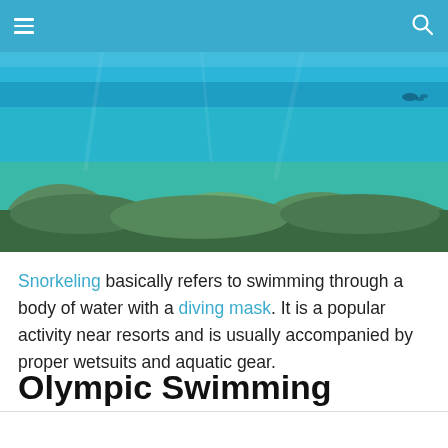[Figure (photo): Underwater coral reef scene with turquoise blue water, colorful corals and rocks visible beneath the surface]
Snorkeling basically refers to swimming through a body of water with a diving mask. It is a popular activity near resorts and is usually accompanied by proper wetsuits and aquatic gear.
Olympic Swimming